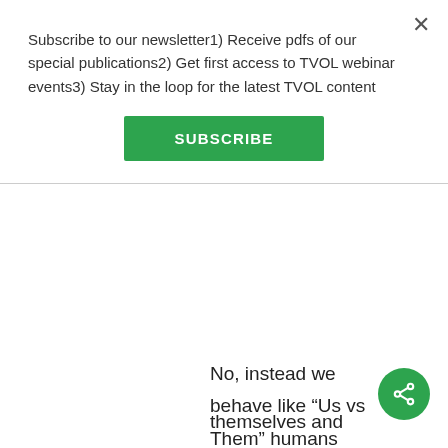Subscribe to our newsletter1) Receive pdfs of our special publications2) Get first access to TVOL webinar events3) Stay in the loop for the latest TVOL content
SUBSCRIBE
themselves and their friends and neighbors and lives today ...
No, instead we behave like “Us vs Them” humans